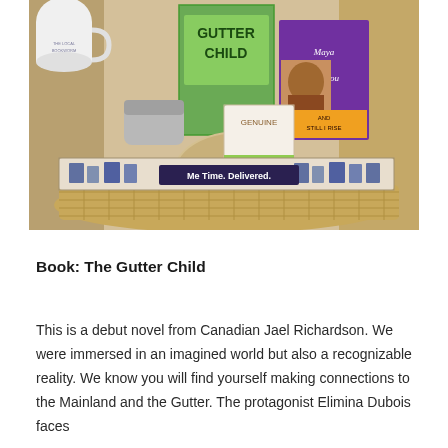[Figure (photo): A photo of a subscription box containing books including 'The Gutter Child' and a Maya Angelou book, along with self-care products like socks, a pumice stone, and a soap bar. A banner across the box reads 'Me Time. Delivered.' The box is sitting on a woven basket/tray on a wooden surface.]
Book: The Gutter Child
This is a debut novel from Canadian Jael Richardson. We were immersed in an imagined world but also a recognizable reality. We know you will find yourself making connections to the Mainland and the Gutter. The protagonist Elimina Dubois faces